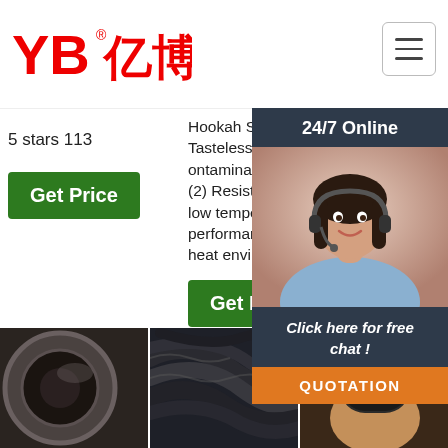[Figure (screenshot): YB亿博 company logo in red with registered trademark symbol, top left header area]
[Figure (screenshot): Hamburger menu icon button, top right corner]
5 stars 113
Hookah Silicone tube (1) Tasteless, non-toxic, non-ontamination (Eco-friendly) (2) Resistant to high and low temperature (Well performance in cold and heat environment).
industry from China. Buy
Get Price
Get Price
G
24/7 Online
[Figure (photo): Customer service representative woman wearing headset, smiling, part of 24/7 online chat popup]
Click here for free chat !
QUOTATION
[Figure (photo): Close-up of the end of a black rubber hose/pipe, bottom left]
[Figure (photo): Bundle of black cables or hoses, bottom center]
[Figure (photo): Hand holding a fitting or hose end, bottom right, with TOP button overlay showing orange dot triangle and green TOP text]
TOP